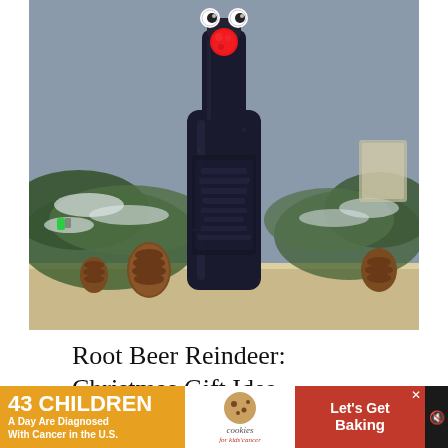[Figure (photo): A dark glass root beer bottle decorated as a reindeer with googly eyes and a red pom-pom nose, set among pine branches, pine cones, and Christmas decorations on a shelf.]
Root Beer Reindeer: Christmas Gift Idea
[Figure (other): Advertisement banner: left orange section reads '43 CHILDREN A Day Are Diagnosed With Cancer in the U.S.', middle white section shows cookies for kids' cancer logo, right red section reads 'Let's Get Baking' with a close button X.]